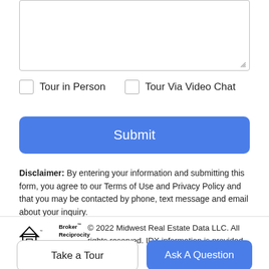[Figure (other): Empty textarea input box with resize handle at bottom-right corner]
Tour in Person
Tour Via Video Chat
Submit
Disclaimer: By entering your information and submitting this form, you agree to our Terms of Use and Privacy Policy and that you may be contacted by phone, text message and email about your inquiry.
[Figure (logo): Broker Reciprocity logo with house icon and text]
© 2022 Midwest Real Estate Data LLC. All rights reserved. IDX information is provided exclusively
Take a Tour
Ask A Question